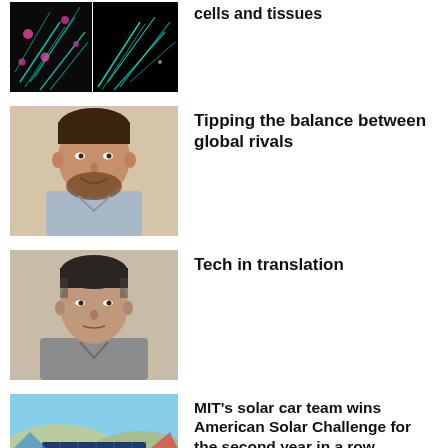[Figure (photo): Two fluorescence microscopy images of nanostructures in cells and tissues — cyan/green filaments on dark background, side by side]
nanostructures in cells and tissues
[Figure (photo): Portrait of a smiling young man with brown beard and light blue shirt]
Tipping the balance between global rivals
[Figure (photo): Portrait of a middle-aged man with dark hair, wearing a grey shirt]
Tech in translation
[Figure (photo): Group of students in red shirts posing with a solar car, outdoors on a sunny day]
MIT's solar car team wins American Solar Challenge for the second year in a row